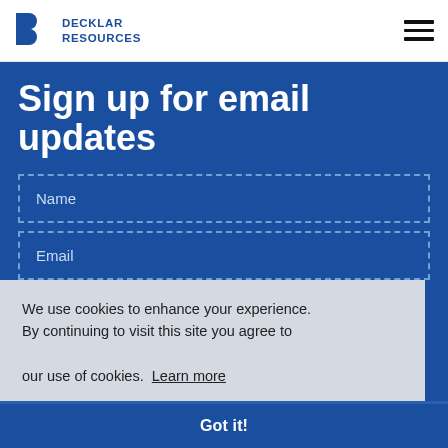DECKLAR RESOURCES
Sign up for email updates
Name
Email
Submit →
We use cookies to enhance your experience. By continuing to visit this site you agree to our use of cookies. Learn more
Got it!
About the C...